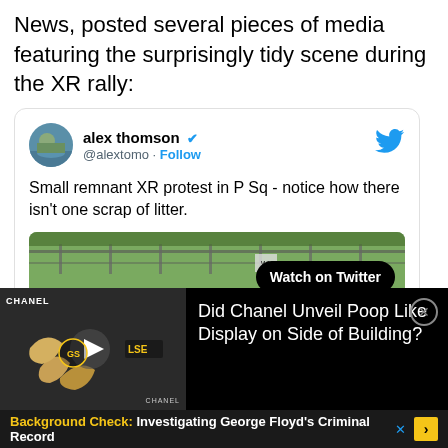News, posted several pieces of media featuring the surprisingly tidy scene during the XR rally:
[Figure (screenshot): Tweet from @alextomo (alex thomson, verified) with text: 'Small remnant XR protest in P Sq - notice how there isn't one scrap of litter.' with a video thumbnail showing a green area with fencing and a 'Watch on Twitter' button.]
[Figure (screenshot): Advertisement overlay showing a Chanel video thumbnail on the left with a play button, and text 'Did Chanel Unveil Poop Like Display on Side of Building?' on black background, with a close (X) button.]
Background Check: Investigating George Floyd's Criminal Record